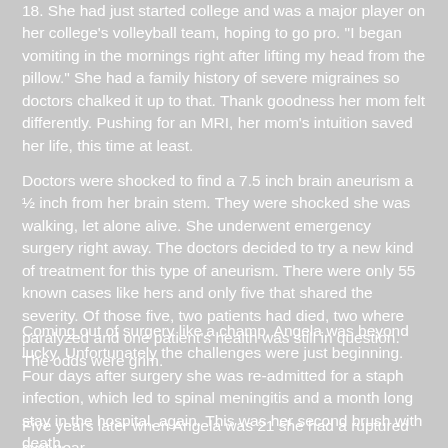18. She had just started college and was a major player on her college's volleyball team, hoping to go pro. "I began vomiting in the mornings right after lifting my head from the pillow." She had a family history of severe migraines so doctors chalked it up to that. Thank goodness her mom felt differently. Pushing for an MRI, her mom's intuition saved her life, this time at least.
Doctors were shocked to find a 7.5 inch brain aneurism a ½ inch from her brain stem. They were shocked she was walking, let alone alive. She underwent emergency surgery right away. The doctors decided to try a new kind of treatment for this type of aneurism. There were only 55 known cases like hers and only five that shared the severity. Of those five, two patients had died, two where paralyzed and one patient's health was still in question. The odds were grim.
Coming out of surgery like a champ, Angela was beyond lucky. Unfortunately the challenges were just beginning. Four days after surgery she was re-admitted for a staph infection, which led to spinal meningitis and a month long stay in the hospital, again. This was her second brush with death.
Five years later when Angela was 21 she had a ruptured cyst near